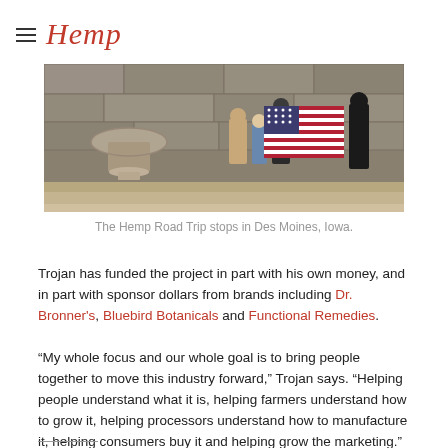Hemp [logo]
[Figure (photo): People standing on stone steps holding an American flag, with a stone urn planter visible on the left.]
The Hemp Road Trip stops in Des Moines, Iowa.
Trojan has funded the project in part with his own money, and in part with sponsor dollars from brands including Dr. Bronner's, Bluebird Botanicals and Functional Remedies.
“My whole focus and our whole goal is to bring people together to move this industry forward,” Trojan says. “Helping people understand what it is, helping farmers understand how to grow it, helping processors understand how to manufacture it, helping consumers buy it and helping grow the marketing.”